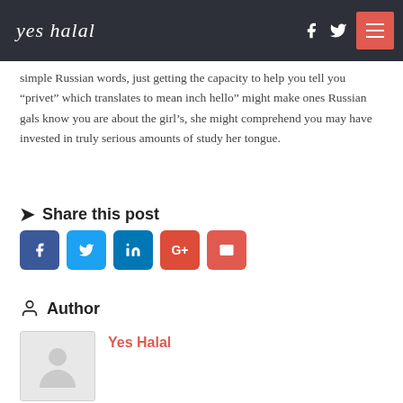yes halal
simple Russian words, just getting the capacity to help you tell you “privet” which translates to mean inch hello” might make ones Russian gals know you are about the girl’s, she might comprehend you may have invested in truly serious amounts of study her tongue.
Share this post
Author
Yes Halal